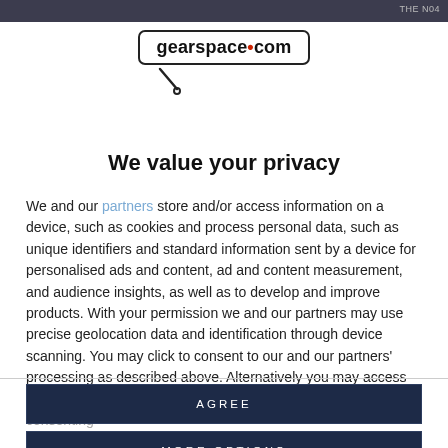THE N04
[Figure (logo): gearspace.com logo in a rounded rectangle border with a microphone cable icon below]
We value your privacy
We and our partners store and/or access information on a device, such as cookies and process personal data, such as unique identifiers and standard information sent by a device for personalised ads and content, ad and content measurement, and audience insights, as well as to develop and improve products. With your permission we and our partners may use precise geolocation data and identification through device scanning. You may click to consent to our and our partners' processing as described above. Alternatively you may access more detailed information and change your preferences before consenting
AGREE
MORE OPTIONS